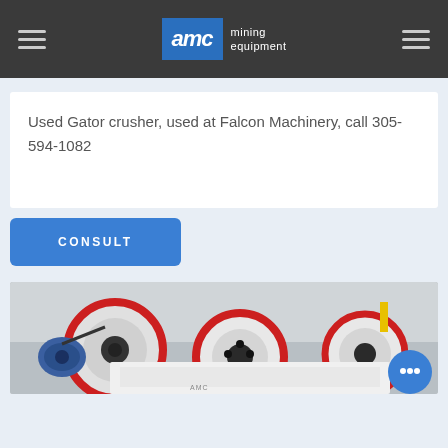AMC mining equipment
Used Gator crusher, used at Falcon Machinery, call 305-594-1082
CONSULT
[Figure (photo): Industrial mining crusher machinery with red circular flywheels, black components, and a blue motor, photographed in a workshop/industrial setting.]